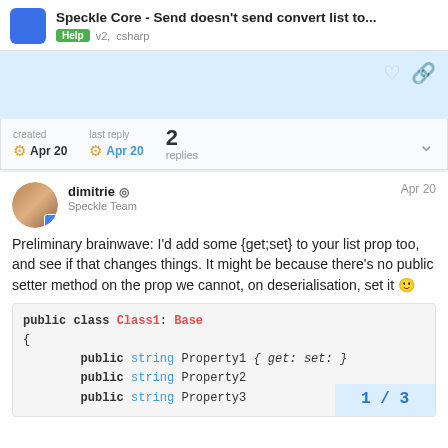Speckle Core - Send doesn't send convert list to... Help v2, csharp
created Apr 20  last reply Apr 20  2 replies
dimitrie ◎ Speckle Team Apr 20
Preliminary brainwave: I'd add some {get;set} to your list prop too, and see if that changes things. It might be because there's no public setter method on the prop we cannot, on deserialisation, set it 🙂
public class Class1: Base
{
        public string Property1 { get: set: }
        public string Property2
        public string Property3